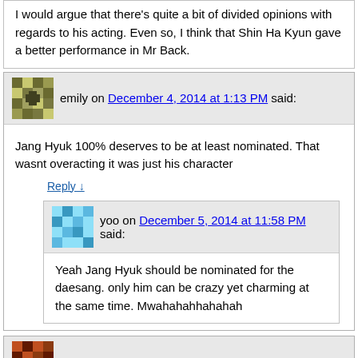I would argue that there's quite a bit of divided opinions with regards to his acting. Even so, I think that Shin Ha Kyun gave a better performance in Mr Back.
emily on December 4, 2014 at 1:13 PM said:
Jang Hyuk 100% deserves to be at least nominated. That wasnt overacting it was just his character
Reply ↓
yoo on December 5, 2014 at 11:58 PM said:
Yeah Jang Hyuk should be nominated for the daesang. only him can be crazy yet charming at the same time. Mwahahahhahahah
Neyrie on December 4, 2014 at 10:35 AM said: